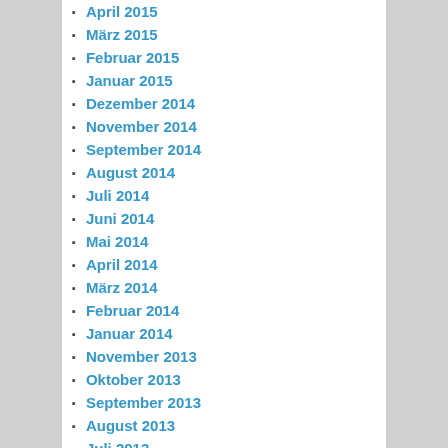April 2015
März 2015
Februar 2015
Januar 2015
Dezember 2014
November 2014
September 2014
August 2014
Juli 2014
Juni 2014
Mai 2014
April 2014
März 2014
Februar 2014
Januar 2014
November 2013
Oktober 2013
September 2013
August 2013
Juli 2013
Juni 2013
Mai 2013